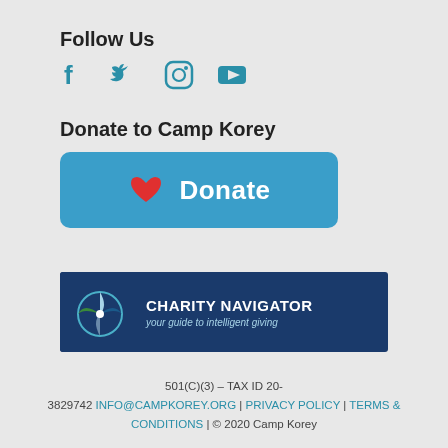Follow Us
[Figure (illustration): Social media icons: Facebook, Twitter, Instagram, YouTube in teal/blue color]
Donate to Camp Korey
[Figure (illustration): Blue rounded donate button with red heart icon and white text 'Donate']
[Figure (logo): Charity Navigator logo - navy blue background with compass/star graphic and text 'CHARITY NAVIGATOR your guide to intelligent giving']
501(C)(3) – TAX ID 20-3829742 INFO@CAMPKOREY.ORG | PRIVACY POLICY | TERMS & CONDITIONS | © 2020 Camp Korey